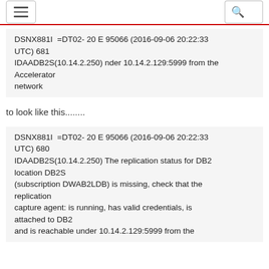DSNX881I  =DT02- 20 E 95066 (2016-09-06 20:22:33 UTC) 681
IDAADB2S(10.14.2.250) nder 10.14.2.129:5999 from the Accelerator
network
to look like this........
DSNX881I  =DT02- 20 E 95066 (2016-09-06 20:22:33 UTC) 680
IDAADB2S(10.14.2.250) The replication status for DB2 location DB2S
(subscription DWAB2LDB) is missing, check that the replication
capture agent: is running, has valid credentials, is attached to DB2
and is reachable under 10.14.2.129:5999 from the Accelerator network